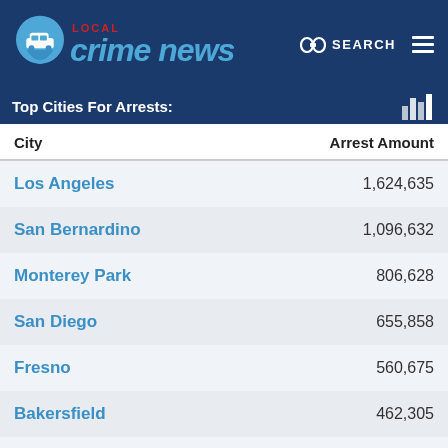LOCAL Crime News
Top Cities For Arrests:
| City | Arrest Amount |
| --- | --- |
| Los Angeles | 1,624,635 |
| San Bernardino | 1,096,632 |
| Monterey Park | 806,628 |
| San Diego | 655,858 |
| Fresno | 560,675 |
| Bakersfield | 462,305 |
| Santa Ana | 456,003 |
| Ventura | 389,324 |
| Sacramento | 383,184 |